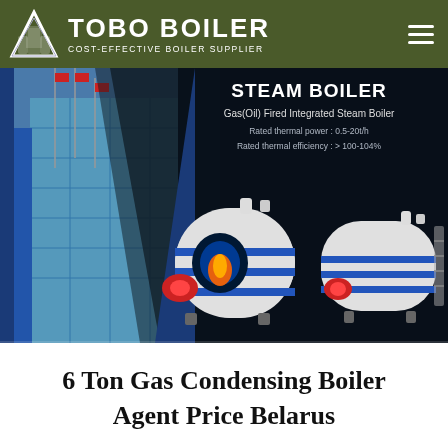TOBO BOILER — COST-EFFECTIVE BOILER SUPPLIER
[Figure (photo): Website banner showing STEAM BOILER product page with Gas(Oil) Fired Integrated Steam Boilers. Left side shows a building with flagpoles, right side shows dark background with product text and images of cylindrical boiler units. Text: STEAM BOILER, Gas(Oil) Fired Integrated Steam Boiler, Rated thermal power: 0.5-20t/h, Rated thermal efficiency: > 100-104%]
6 Ton Gas Condensing Boiler Agent Price Belarus